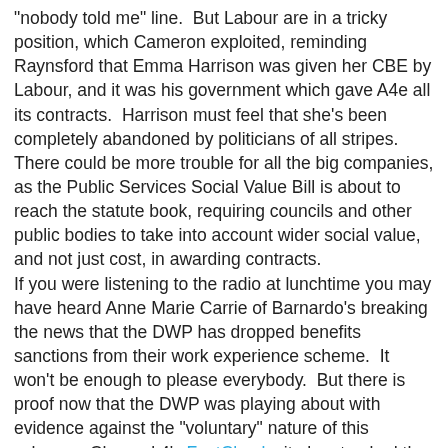"nobody told me" line.  But Labour are in a tricky position, which Cameron exploited, reminding Raynsford that Emma Harrison was given her CBE by Labour, and it was his government which gave A4e all its contracts.  Harrison must feel that she's been completely abandoned by politicians of all stripes.  There could be more trouble for all the big companies, as the Public Services Social Value Bill is about to reach the statute book, requiring councils and other public bodies to take into account wider social value, and not just cost, in awarding contracts.
If you were listening to the radio at lunchtime you may have heard Anne Marie Carrie of Barnardo's breaking the news that the DWP has dropped benefits sanctions from their work experience scheme.  It won't be enough to please everybody.  But there is proof now that the DWP was playing about with evidence against the "voluntary" nature of this scheme.  Channel 4's FactCheck site has tracked the disappearing documents.  And Left Foot Forward provides a timely guide to all those schemes, including the Work Programme, where work experience is still mandatory.
historian at 08:17